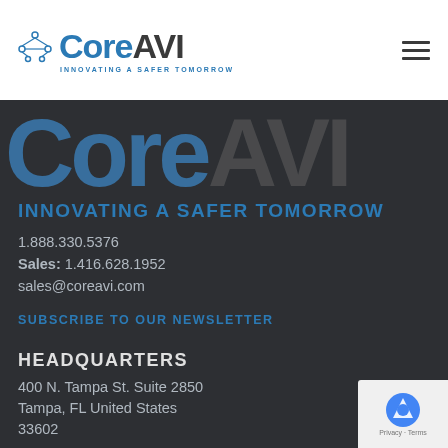[Figure (logo): CoreAVI logo with network icon, blue 'Core' text, dark 'AVI' text, tagline 'INNOVATING A SAFER TOMORROW']
[Figure (logo): Large watermark CoreAVI text in blue and grey across dark background]
INNOVATING A SAFER TOMORROW
1.888.330.5376
Sales: 1.416.628.1952
sales@coreavi.com
SUBSCRIBE TO OUR NEWSLETTER
HEADQUARTERS
400 N. Tampa St. Suite 2850
Tampa, FL United States
33602
DALLAS/FORT WORTH OFFICE